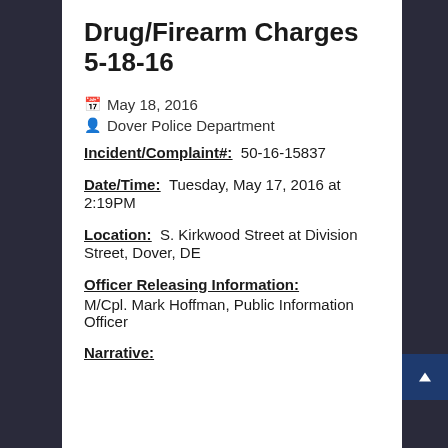Drug/Firearm Charges 5-18-16
May 18, 2016
Dover Police Department
Incident/Complaint#:  50-16-15837
Date/Time:  Tuesday, May 17, 2016 at 2:19PM
Location:   S. Kirkwood Street at Division Street, Dover, DE
Officer Releasing Information:
M/Cpl. Mark Hoffman, Public Information Officer
Narrative: